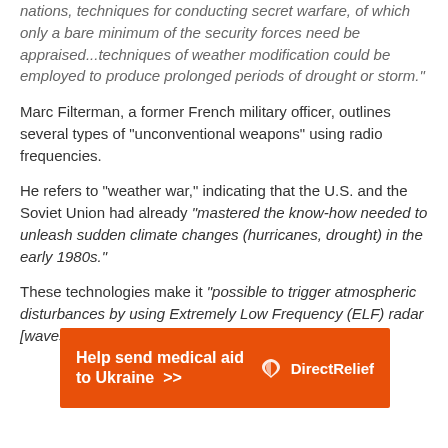nations, techniques for conducting secret warfare, of which only a bare minimum of the security forces need be appraised...techniques of weather modification could be employed to produce prolonged periods of drought or storm."
Marc Filterman, a former French military officer, outlines several types of "unconventional weapons" using radio frequencies.
He refers to "weather war," indicating that the U.S. and the Soviet Union had already "mastered the know-how needed to unleash sudden climate changes (hurricanes, drought) in the early 1980s."
These technologies make it "possible to trigger atmospheric disturbances by using Extremely Low Frequency (ELF) radar [waves]."
[Figure (infographic): Orange advertisement banner for Direct Relief: 'Help send medical aid to Ukraine >>' with Direct Relief logo (white bird icon) and text on right]